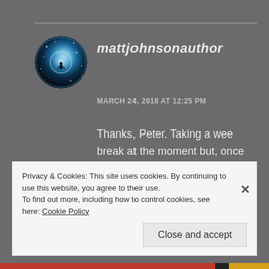[Figure (illustration): Circular avatar image showing a dark space/eye-like scene with a silhouette of a person standing against a glowing circle, surrounded by blue and white particle-like effects]
mattjohnsonauthor
MARCH 24, 2018 AT 12:25 PM
Thanks, Peter. Taking a wee break at the moment but, once batteries re-charged, I'll be working on it.
Like
Privacy & Cookies: This site uses cookies. By continuing to use this website, you agree to their use.
To find out more, including how to control cookies, see here: Cookie Policy
Close and accept